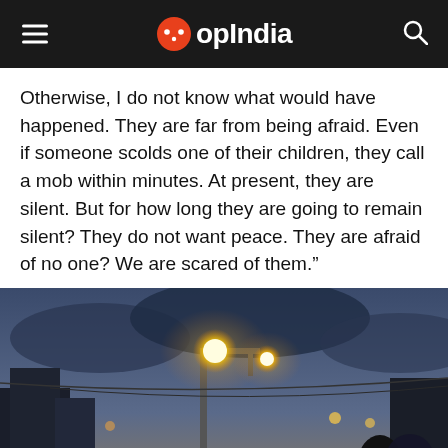OpIndia
Otherwise, I do not know what would have happened. They are far from being afraid. Even if someone scolds one of their children, they call a mob within minutes. At present, they are silent. But for how long they are going to remain silent? They do not want peace. They are afraid of no one? We are scared of them.”
[Figure (photo): Night street scene with bright orange-yellow street lamps on a pole, dark sky, buildings and people visible in background, taken from inside a vehicle or at street level.]